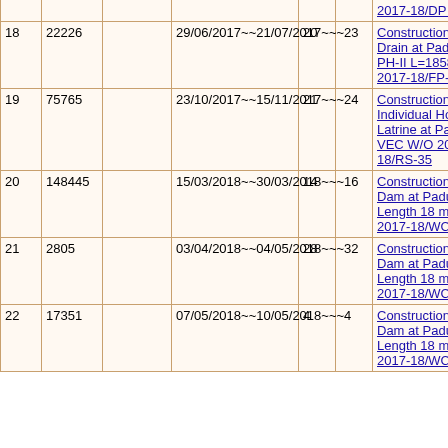| # | Amount |  | Date Range |  |  | Work Order |
| --- | --- | --- | --- | --- | --- | --- |
|  |  |  |  |  |  | 2017-18/DP 42 |
| 18 | 22226 |  | 29/06/2017~~21/07/2017~~~23 | 20 |  | Construction of Side Drain at PadubahVEC PH-II L=1858 m W/O 2017-18/FP-17 |
| 19 | 75765 |  | 23/10/2017~~15/11/2017~~~24 | 21 |  | Construction of 20 Individual Household Latrine at Padubah VEC W/O 2017-18/RS-35 |
| 20 | 148445 |  | 15/03/2018~~30/03/2018~~~16 | 14 |  | Construction of Check Dam at Padubah VEC Length 18 m WO 2017-18/WC-24 |
| 21 | 2805 |  | 03/04/2018~~04/05/2018~~~32 | 28 |  | Construction of Check Dam at Padubah VEC Length 18 m WO 2017-18/WC-24 |
| 22 | 17351 |  | 07/05/2018~~10/05/2018~~~4 | 4 |  | Construction of Check Dam at Padubah VEC Length 18 m WO 2017-18/WC-24 |